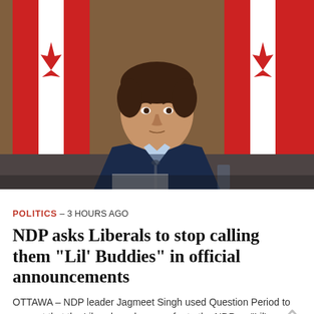[Figure (photo): A man in a dark suit and tie sits at a desk or table in front of two large Canadian flags (red and white maple leaf). He has dark hair and appears to be at an official press conference or government briefing, holding papers.]
POLITICS - 3 HOURS AGO
NDP asks Liberals to stop calling them “Lil’ Buddies” in official announcements
OTTAWA – NDP leader Jagmeet Singh used Question Period to request that the Liberals no longer refer to the NDP as “Lil’